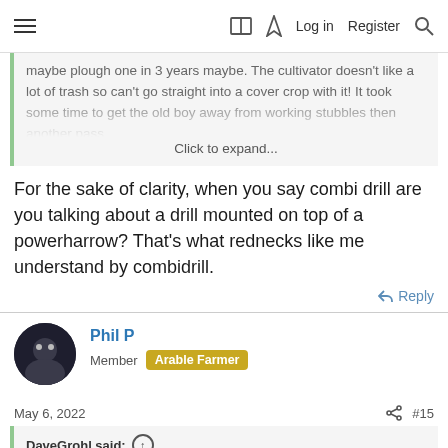≡  🔖  ⚡  Log in  Register  🔍
maybe plough one in 3 years maybe. The cultivator doesn't like a lot of trash so can't go straight into a cover crop with it! It took some time to get the old boy away from working stubbles then another pass
Click to expand...
For the sake of clarity, when you say combi drill are you talking about a drill mounted on top of a powerharrow? That's what rednecks like me understand by combidrill.
↩ Reply
Phil P
Member  Arable Farmer
May 6, 2022
#15
DaveGrohl said: ⊕
For the sake of clarity, when you say combi drill are you talking about a drill mounted on top of a powerharrow? That's what rednecks like